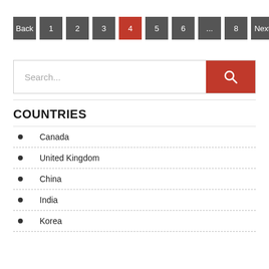Back 1 2 3 4 5 6 ... 8 Next
[Figure (other): Search bar with text input and red search button]
COUNTRIES
Canada
United Kingdom
China
India
Korea